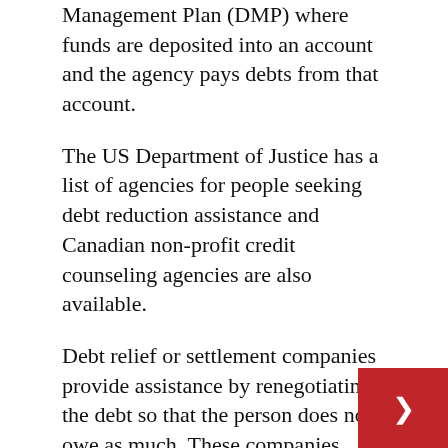Management Plan (DMP) where funds are deposited into an account and the agency pays debts from that account.
The US Department of Justice has a list of agencies for people seeking debt reduction assistance and Canadian non-profit credit counseling agencies are also available.
Debt relief or settlement companies provide assistance by renegotiating the debt so that the person does not owe as much. These companies reach out to creditors and work with them to reduce the balance, interest rates or fees. Consumers can also do this to avoid fees charged by a company like this.
Debt consolidation companies offer loans to pay off debts all at once. People will often be lured by